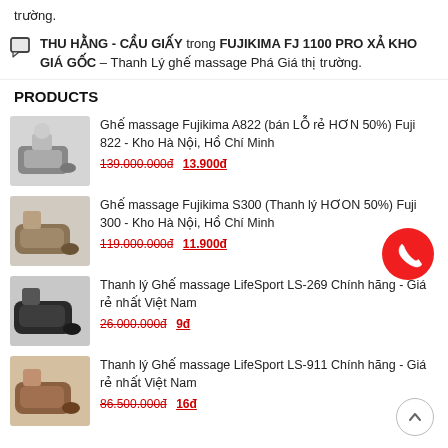trường.
THU HẰNG - CẦU GIẤY trong FUJIKIMA FJ 1100 PRO XẢ KHO GIÁ GỐC – Thanh Lý ghế massage Phá Giá thị trường.
PRODUCTS
Ghế massage Fujikima A822 (bán LỖ rẻ HƠN 50%) Fuji 822 - Kho Hà Nội, Hồ Chí Minh
139.000.000đ 13.900đ
Ghế massage Fujikima S300 (Thanh lý HƠON 50%) Fuji 300 - Kho Hà Nội, Hồ Chí Minh
119.000.000đ 11.900đ
Thanh lý Ghế massage LifeSport LS-269 Chính hãng - Giá rẻ nhất Việt Nam
26.000.000đ 9đ
Thanh lý Ghế massage LifeSport LS-911 Chính hãng - Giá rẻ nhất Việt Nam
86.500.000đ 16đ